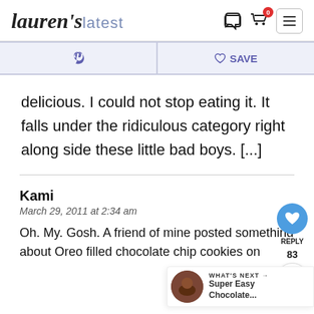lauren's latest
[Figure (screenshot): Social share bar with Pinterest icon and Save/heart button on light purple background]
delicious. I could not stop eating it. It falls under the ridiculous category right along side these little bad boys. [...]
Kami
March 29, 2011 at 2:34 am
Oh. My. Gosh. A friend of mine posted something about Oreo filled chocolate chip cookies on